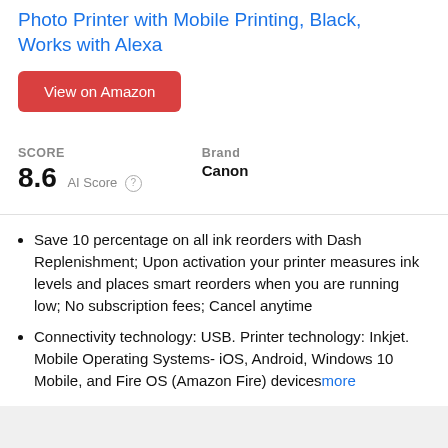Photo Printer with Mobile Printing, Black, Works with Alexa
View on Amazon
SCORE
8.6 AI Score
Brand
Canon
Save 10 percentage on all ink reorders with Dash Replenishment; Upon activation your printer measures ink levels and places smart reorders when you are running low; No subscription fees; Cancel anytime
Connectivity technology: USB. Printer technology: Inkjet. Mobile Operating Systems- iOS, Android, Windows 10 Mobile, and Fire OS (Amazon Fire) devicesmore